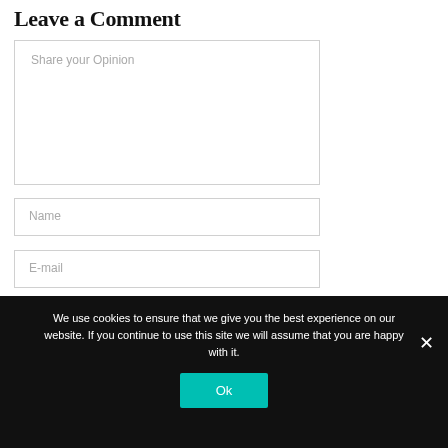Leave a Comment
Share your Opinion
Name
E-mail
Website
We use cookies to ensure that we give you the best experience on our website. If you continue to use this site we will assume that you are happy with it.
Ok